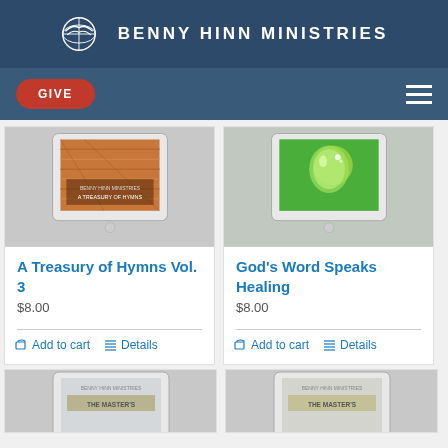BENNY HINN MINISTRIES
[Figure (screenshot): Navigation bar with red GIVE button and hamburger menu]
[Figure (photo): Product image for A Treasury of Hymns Vol. 3 showing a tablet device with orange/brown cover]
A Treasury of Hymns Vol. 3
$8.00
Add to cart   Details
[Figure (photo): Product image for God's Word Speaks Healing showing a tablet device with green cover and water droplet]
God's Word Speaks Healing
$8.00
Add to cart   Details
[Figure (photo): Partially visible product image showing The Master's series tablet]
[Figure (photo): Partially visible product image showing The Master's series tablet]